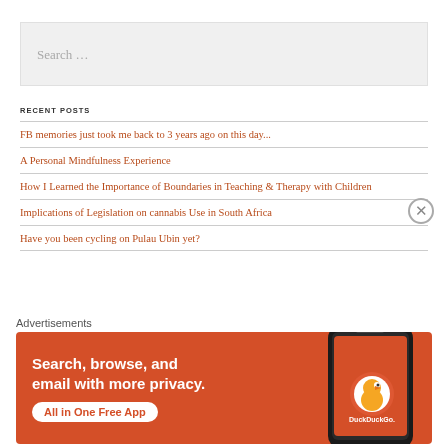[Figure (other): Search input box with placeholder text 'Search ...']
RECENT POSTS
FB memories just took me back to 3 years ago on this day...
A Personal Mindfulness Experience
How I Learned the Importance of Boundaries in Teaching & Therapy with Children
Implications of Legislation on cannabis Use in South Africa
Have you been cycling on Pulau Ubin yet?
Advertisements
[Figure (other): DuckDuckGo advertisement banner: 'Search, browse, and email with more privacy. All in One Free App' with phone image and DuckDuckGo logo]